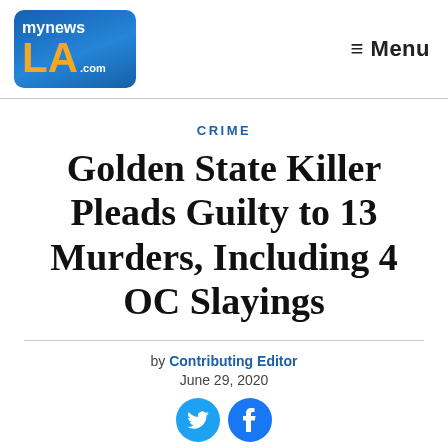[Figure (logo): MyNewsLA.com logo - blue rounded rectangle with 'my news' in white, 'LA' in orange, '.com' in white]
≡ Menu
CRIME
Golden State Killer Pleads Guilty to 13 Murders, Including 4 OC Slayings
by Contributing Editor
June 29, 2020